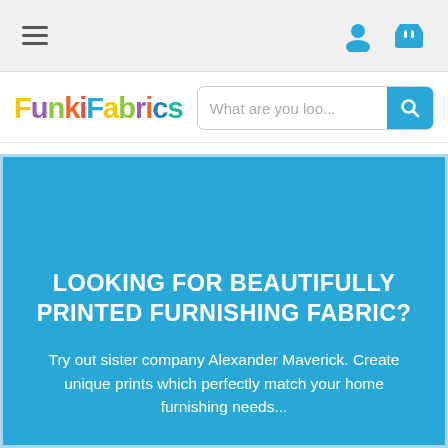[Figure (screenshot): Navigation bar with hamburger menu icon on the left and user account icon and shopping basket icon on the right, on a light grey background]
[Figure (logo): FunkiFabrics logo in colorful bubble letters]
What are you loo...
LOOKING FOR BEAUTIFULLY PRINTED FURNISHING FABRIC?
Try out sister company Alexander Maverick. Create unique prints which perfectly match your home furnishing needs...